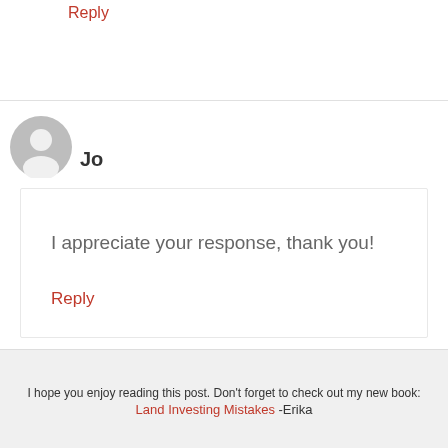Reply
[Figure (illustration): Generic user avatar icon — gray circle with silhouette of person]
Jo
I appreciate your response, thank you!
Reply
I hope you enjoy reading this post. Don't forget to check out my new book: Land Investing Mistakes -Erika